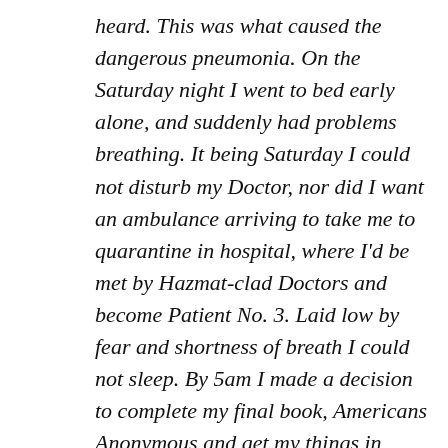heard. This was what caused the dangerous pneumonia. On the Saturday night I went to bed early alone, and suddenly had problems breathing. It being Saturday I could not disturb my Doctor, nor did I want an ambulance arriving to take me to quarantine in hospital, where I'd be met by Hazmat-clad Doctors and become Patient No. 3. Laid low by fear and shortness of breath I could not sleep. By 5am I made a decision to complete my final book, Americans Anonymous and get my things in order in case this was it.
Thank you for visiting. You can now buy me a coffee!
ly to
photographic practice.